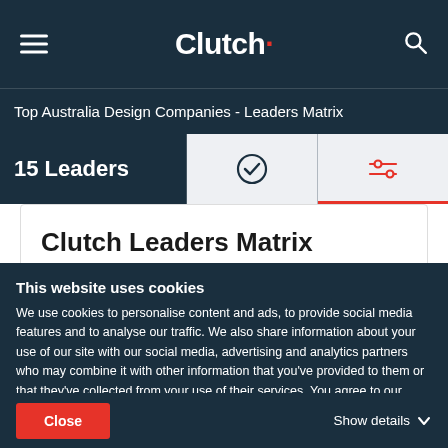Clutch
Top Australia Design Companies - Leaders Matrix
15 Leaders
Clutch Leaders Matrix
Rollover to see company insights or click a company below for more details.
This website uses cookies
We use cookies to personalise content and ads, to provide social media features and to analyse our traffic. We also share information about your use of our site with our social media, advertising and analytics partners who may combine it with other information that you've provided to them or that they've collected from your use of their services. You agree to our cookies if you continue to use our website.
Close
Show details